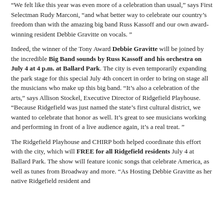“We felt like this year was even more of a celebration than usual,” says First Selectman Rudy Marconi, “and what better way to celebrate our country’s freedom than with the amazing big band Russ Kassoff and our own award-winning resident Debbie Gravitte on vocals. ”
Indeed, the winner of the Tony Award Debbie Gravitte will be joined by the incredible Big Band sounds by Russ Kassoff and his orchestra on July 4 at 4 p.m. at Ballard Park. The city is even temporarily expanding the park stage for this special July 4th concert in order to bring on stage all the musicians who make up this big band. “It’s also a celebration of the arts,” says Allison Stockel, Executive Director of Ridgefield Playhouse. “Because Ridgefield was just named the state’s first cultural district, we wanted to celebrate that honor as well. It’s great to see musicians working and performing in front of a live audience again, it’s a real treat. ”
The Ridgefield Playhouse and CHIRP both helped coordinate this effort with the city, which will FREE for all Ridgefield residents July 4 at Ballard Park. The show will feature iconic songs that celebrate America, as well as tunes from Broadway and more. “As Hosting Debbie Gravitte as her native Ridgefield resident and...